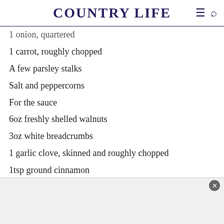COUNTRY LIFE
1 onion, quartered
1 carrot, roughly chopped
A few parsley stalks
Salt and peppercorns
For the sauce
6oz freshly shelled walnuts
3oz white breadcrumbs
1 garlic clove, skinned and roughly chopped
1tsp ground cinnamon
Salt and pepper
To finish